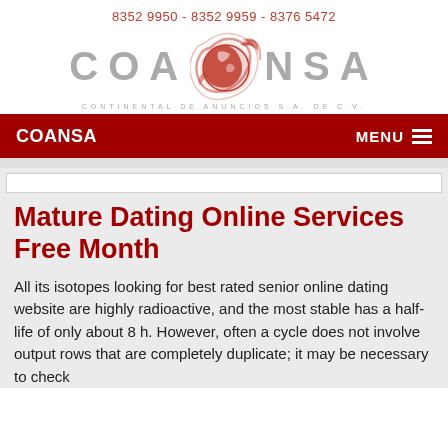8352 9950 - 8352 9959 - 8376 5472
[Figure (logo): COANSA logo with globe graphic and text 'CONTINENTAL DE ANUNCIOS S.A. DE C.V.']
COANSA   MENU
Mature Dating Online Services Free Month
All its isotopes looking for best rated senior online dating website are highly radioactive, and the most stable has a half-life of only about 8 h. However, often a cycle does not involve output rows that are completely duplicate; it may be necessary to check